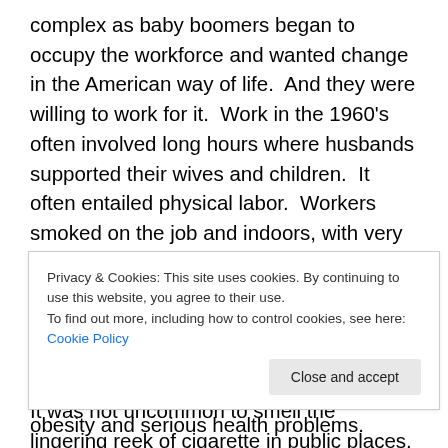complex as baby boomers began to occupy the workforce and wanted change in the American way of life.  And they were willing to work for it.  Work in the 1960's often involved long hours where husbands supported their wives and children.  It often entailed physical labor.  Workers smoked on the job and indoors, with very little stigma attached to smoking in public places.  You could hear the music of Simon & Garfunkel and the melancholic ballads of Elvis as people drank and smoked as a part of their social activities.  It was not uncommon to smell the lingering reek of cigarette in public places.  The Sixties
obesity and serious health problems.
Privacy & Cookies: This site uses cookies. By continuing to use this website, you agree to their use.
To find out more, including how to control cookies, see here: Cookie Policy